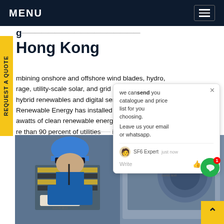MENU
g... ...tion in Hong Kong
mbining onshore and offshore wind blades, hydro, rage, utility-scale solar, and grid s... well hybrid renewables and digital ser... ings, Renewable Energy has installed n... awatts of clean renewable energ... ped re than 90 percent of utilities ... its solutions.Get price
[Figure (photo): Chat popup overlay with text 'we can send you catalogue and price list for you choosing. Leave us your email or whatsapp.' with SF6 Expert agent and write interface]
[Figure (photo): Worker in blue hard hat and coveralls working on electrical equipment labeled 5011, shown in duplicate side-by-side panels]